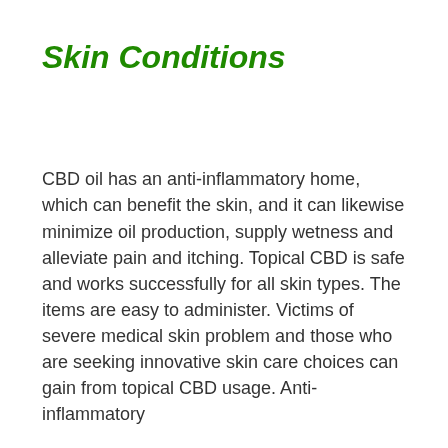Skin Conditions
CBD oil has an anti-inflammatory home, which can benefit the skin, and it can likewise minimize oil production, supply wetness and alleviate pain and itching. Topical CBD is safe and works successfully for all skin types. The items are easy to administer. Victims of severe medical skin problem and those who are seeking innovative skin care choices can gain from topical CBD usage. Anti-inflammatory properties are also credited with CBD use, and they